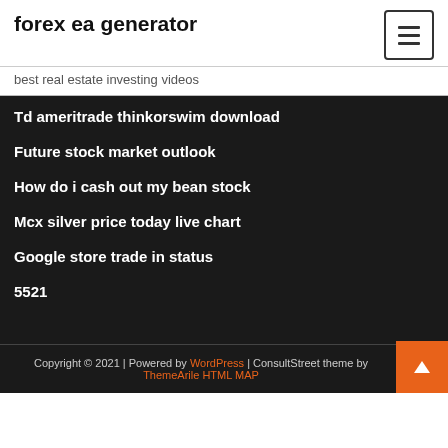forex ea generator
best real estate investing videos
Td ameritrade thinkorswim download
Future stock market outlook
How do i cash out my bean stock
Mcx silver price today live chart
Google store trade in status
5521
Copyright © 2021 | Powered by WordPress | ConsultStreet theme by ThemeArile HTML MAP